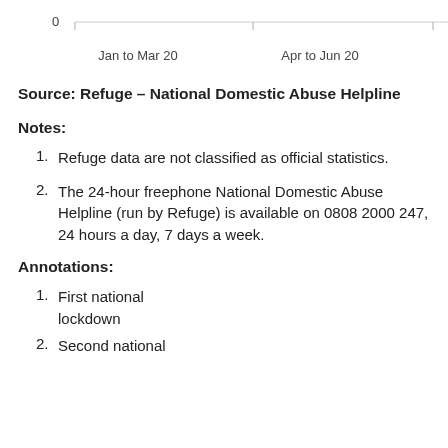[Figure (continuous-plot): Top portion of a line/bar chart with x-axis labels: Jan to Mar 20, Apr to Jun 20, Jul to Sep 20, Oct to D[ec 20]. Y-axis shows value 0 at top. Chart is partially cropped.]
Source: Refuge – National Domestic Abuse Helpline
Notes:
Refuge data are not classified as official statistics.
The 24-hour freephone National Domestic Abuse Helpline (run by Refuge) is available on 0808 2000 247, 24 hours a day, 7 days a week.
Annotations:
First national lockdown
Second national